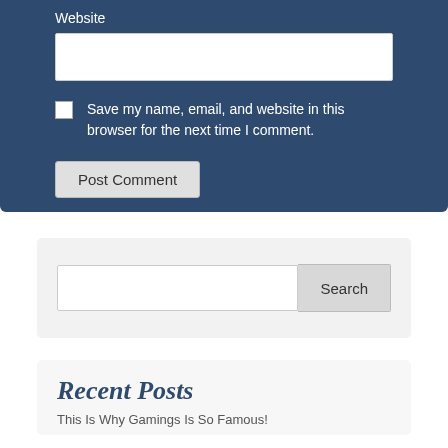Website
Save my name, email, and website in this browser for the next time I comment.
Post Comment
Search
Recent Posts
This Is Why Gamings Is So Famous!